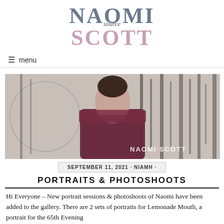[Figure (logo): Naomi Scott fan site logo — 'NAOMI SCOTT' in large bold serif letters, grey and pink, with cursive 'source' overlay]
≡ menu
[Figure (photo): Naomi Scott wearing a sparkly off-shoulder dark red/burgundy dress, standing in front of a white background with black abstract lines/stripes. Watermark text 'NAOMI SCOTT' in bottom right corner.]
SEPTEMBER 11, 2021 · NIAMH ·
PORTRAITS & PHOTOSHOOTS
Hi Everyone – New portrait sessions & photoshoots of Naomi have been added to the gallery. There are 2 sets of portraits for Lemonade Mouth, a portrait for the 65th Evening